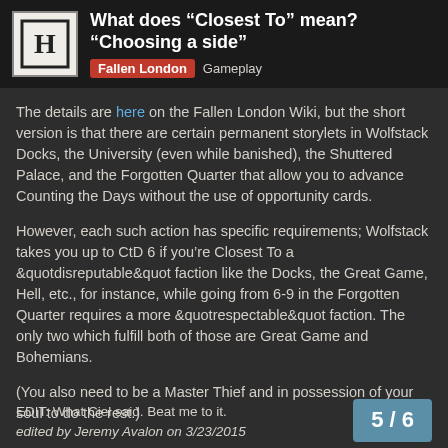What does “Closest To” mean? “Choosing a side” — Fallen London Gameplay
The details are here on the Fallen London Wiki, but the short version is that there are certain permanent storylets in Wolfstack Docks, the University (even while banished), the Shuttered Palace, and the Forgotten Quarter that allow you to advance Counting the Days without the use of opportunity cards.
However, each such action has specific requirements; Wolfstack takes you up to CtD 6 if you’re Closest To a &quotdisreputable&quot faction like the Docks, the Great Game, Hell, etc., for instance, while going from 6-9 in the Forgotten Quarter requires a more &quotrespectable&quot faction. The only two which fulfill both of those are Great Game and Bohemians.
(You also need to be a Master Thief and in possession of your soul to do the rest.)
EDIT: What Ciel said. Beat me to it.
edited by Jeremy Avalon on 3/23/2015
5 / 6